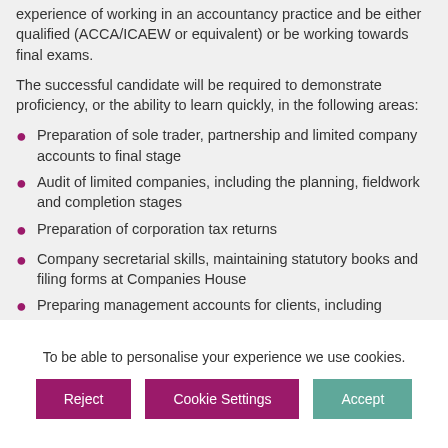experience of working in an accountancy practice and be either qualified (ACCA/ICAEW or equivalent) or be working towards final exams.
The successful candidate will be required to demonstrate proficiency, or the ability to learn quickly, in the following areas:
Preparation of sole trader, partnership and limited company accounts to final stage
Audit of limited companies, including the planning, fieldwork and completion stages
Preparation of corporation tax returns
Company secretarial skills, maintaining statutory books and filing forms at Companies House
Preparing management accounts for clients, including occasional site visits
VAT and P11D experience would also be an
To be able to personalise your experience we use cookies.